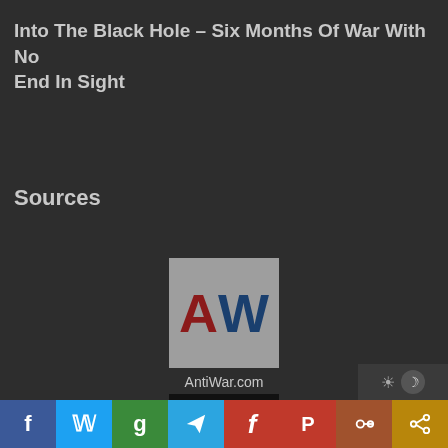Into The Black Hole – Six Months Of War With No End In Sight
Sources
[Figure (logo): AntiWar.com logo – grey square with large red 'A' and blue 'W' letters]
AntiWar.com
[Figure (logo): DC logo – black square with grey 'DC' letters]
[Figure (other): Bottom toolbar with social media sharing buttons: Facebook (blue), Twitter (light blue), Google (green), Telegram (blue), Firefox/Flipboard (red), Pinterest/Parler (red), chain-link (brown), share (gold/yellow)]